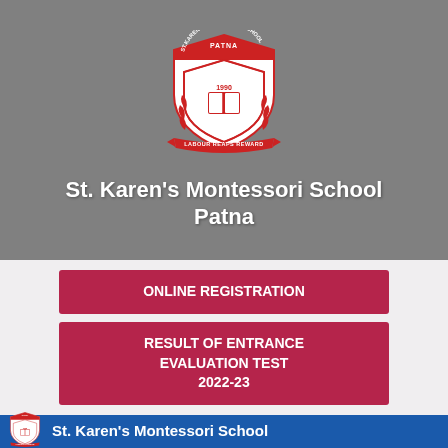[Figure (logo): St. Karen's Montessori School Patna shield logo — red and white crest with laurel wreath, year 1990, motto LABOUR REAPS REWARD]
St. Karen's Montessori School Patna
ONLINE REGISTRATION
RESULT OF ENTRANCE EVALUATION TEST 2022-23
[Figure (logo): Small St. Karen's Montessori School Patna shield logo in blue footer bar]
St. Karen's Montessori School